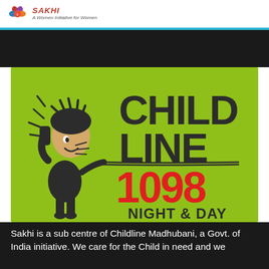A Women Initiative for Women
[Figure (logo): Childline 1098 Night & Day logo on green background with cartoon child holding phone]
Sakhi is a sub centre of Childline Madhubani, a Govt. of India initiative. We care for the Child in need and we